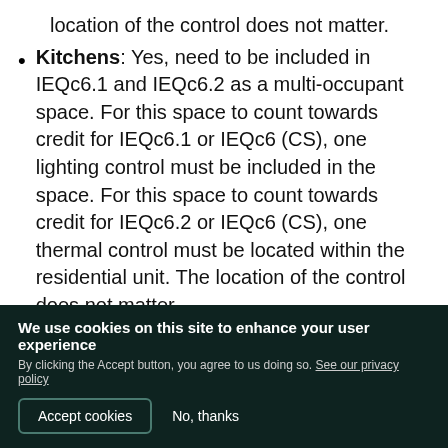location of the control does not matter.
Kitchens: Yes, need to be included in IEQc6.1 and IEQc6.2 as a multi-occupant space. For this space to count towards credit for IEQc6.1 or IEQc6 (CS), one lighting control must be included in the space. For this space to count towards credit for IEQc6.2 or IEQc6 (CS), one thermal control must be located within the residential unit. The location of the control does not matter.
Laundry: This space is not included in the credit requirements.
Walk-in Closets: This space is not included in the
We use cookies on this site to enhance your user experience
By clicking the Accept button, you agree to us doing so. See our privacy policy
Accept cookies   No, thanks